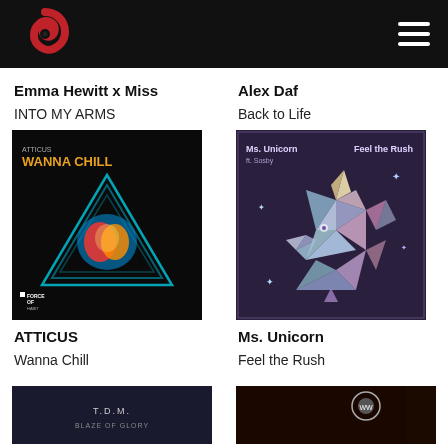Force of Habit logo and navigation
Emma Hewitt x Miss
INTO MY ARMS
Alex Daf
Back to Life
[Figure (illustration): Album cover for Atticus - Wanna Chill, black background with neon blue triangle shapes and a colorful heart, Force of Habit label logo bottom left]
[Figure (illustration): Album cover for Ms. Unicorn ft. Sosby - Feel the Rush, dark purple background with geometric low-poly unicorn head in pastel colors]
ATTICUS
Wanna Chill
Ms. Unicorn
Feel the Rush
[Figure (photo): Partial album art at bottom left, text T.D.M. Blaze of Glory visible]
[Figure (photo): Partial album art at bottom right, dark image with circular logo]